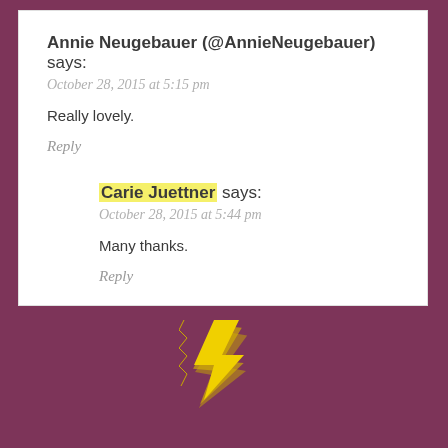Annie Neugebauer (@AnnieNeugebauer) says:
October 28, 2015 at 5:15 pm
Really lovely.
Reply
Carie Juettner says:
October 28, 2015 at 5:44 pm
Many thanks.
Reply
[Figure (logo): Stylized lightning bolt or stacked paper icon in gold/yellow tones, website logo at bottom of purple footer area]